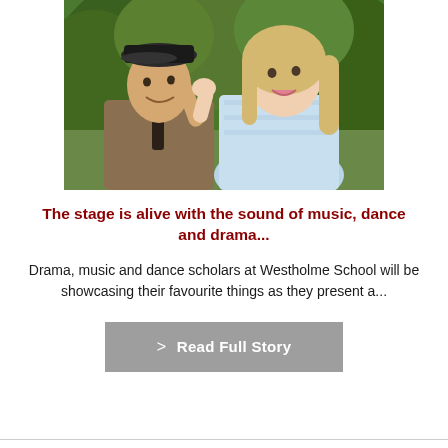[Figure (photo): Two young people in theatrical costumes — a young man in a flat cap and period clothing on the left, a young woman in a light blue dress on the right, posing outdoors in front of green trees.]
The stage is alive with the sound of music, dance and drama...
Drama, music and dance scholars at Westholme School will be showcasing their favourite things as they present a...
> Read Full Story